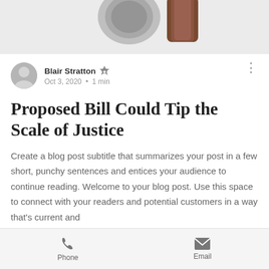[Figure (photo): Top portion of image showing a judge's gavel on a white background]
Blair Stratton · Oct 3, 2020 · 1 min
Proposed Bill Could Tip the Scale of Justice
Create a blog post subtitle that summarizes your post in a few short, punchy sentences and entices your audience to continue reading. Welcome to your blog post. Use this space to connect with your readers and potential customers in a way that's current and
Phone  Email